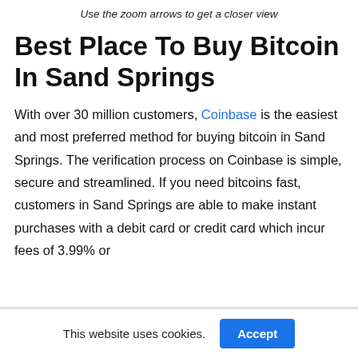Use the zoom arrows to get a closer view
Best Place To Buy Bitcoin In Sand Springs
With over 30 million customers, Coinbase is the easiest and most preferred method for buying bitcoin in Sand Springs. The verification process on Coinbase is simple, secure and streamlined. If you need bitcoins fast, customers in Sand Springs are able to make instant purchases with a debit card or credit card which incur fees of 3.99% or
This website uses cookies.